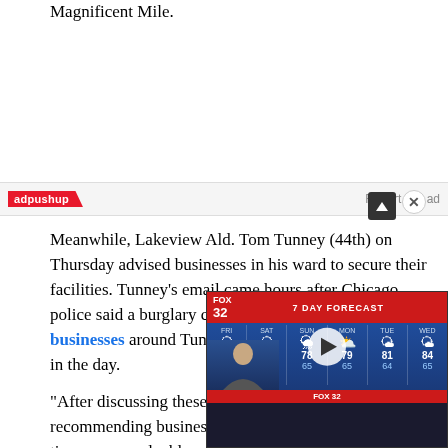Magnificent Mile.
[Figure (screenshot): adpushup advertisement banner with 'Report this ad' link]
Meanwhile, Lakeview Ald. Tom Tunney (44th) on Thursday advised businesses in his ward to secure their facilities. Tunney's email came hours after Chicago police said a burglary crew broke into three businesses around Tunney's ward to steal ATMs earlier in the day.
“After discussing these incidents, police are recommending businesses that are not open during this time secure valuables such as liquor, ATMs, cash registers and other items that could be seen from the windows,” Tunn…
[Figure (screenshot): Fox 32 Chicago 7 Day Forecast weather video widget showing temperatures: 86/65, 82/66, 78/65, 79/65, 81/64, 84/65 with weather icons and a play button overlay]
He also advised business owners… surveillance cameras are operatin… windows are locked, and alarms…